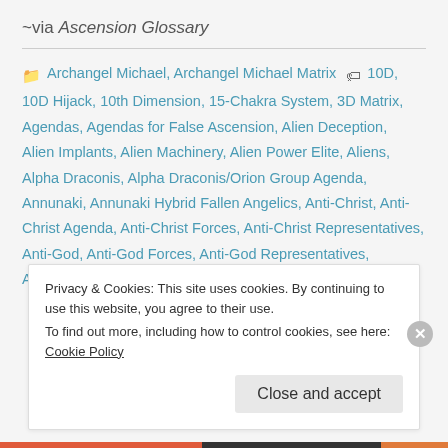~via Ascension Glossary
Archangel Michael, Archangel Michael Matrix, 10D, 10D Hijack, 10th Dimension, 15-Chakra System, 3D Matrix, Agendas, Agendas for False Ascension, Alien Deception, Alien Implants, Alien Machinery, Alien Power Elite, Aliens, Alpha Draconis, Alpha Draconis/Orion Group Agenda, Annunaki, Annunaki Hybrid Fallen Angelics, Anti-Christ, Anti-Christ Agenda, Anti-Christ Forces, Anti-Christ Representatives, Anti-God, Anti-God Forces, Anti-God Representatives, Antichrist, Antichrist Agenda, Antichrist Forces, Anunnaki,
Privacy & Cookies: This site uses cookies. By continuing to use this website, you agree to their use.
To find out more, including how to control cookies, see here: Cookie Policy
Close and accept